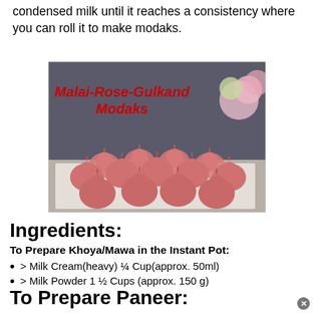condensed milk until it reaches a consistency where you can roll it to make modaks.
[Figure (photo): Photo of pink rose-gulkand modaks arranged on a white surface with flowers in the background. Red italic text overlay reads 'Malai-Rose-Gulkand Modaks'.]
Ingredients:
To Prepare Khoya/Mawa in the Instant Pot:
> Milk Cream(heavy) ¼ Cup(approx. 50ml)
> Milk Powder 1 ½ Cups (approx. 150 g)
To Prepare Paneer: